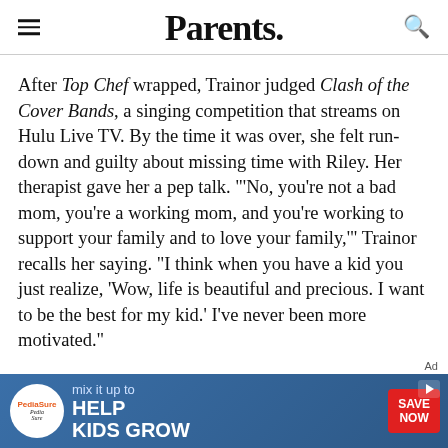Parents.
After Top Chef wrapped, Trainor judged Clash of the Cover Bands, a singing competition that streams on Hulu Live TV. By the time it was over, she felt run-down and guilty about missing time with Riley. Her therapist gave her a pep talk. "'No, you're not a bad mom, you're a working mom, and you're working to support your family and to love your family,'" Trainor recalls her saying. "I think when you have a kid you just realize, 'Wow, life is beautiful and precious. I want to be the best for my kid.' I've never been more motivated."
[Figure (other): PediaSure advertisement banner: 'mix it up to HELP KIDS GROW' with SAVE NOW button on blue background]